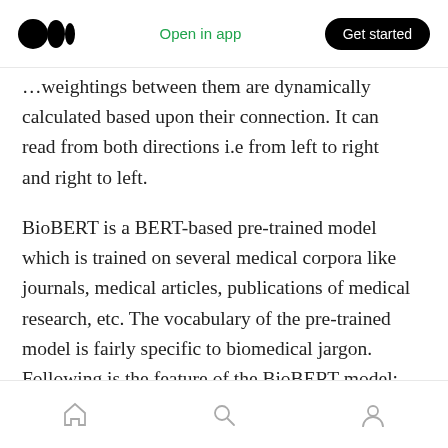Open in app | Get started
…weightings between them are dynamically calculated based upon their connection. It can read from both directions i.e from left to right and right to left.
BioBERT is a BERT-based pre-trained model which is trained on several medical corpora like journals, medical articles, publications of medical research, etc. The vocabulary of the pre-trained model is fairly specific to biomedical jargon. Following is the feature of the BioBERT model:
1. Simple architecture based on bidirectional
home | search | profile